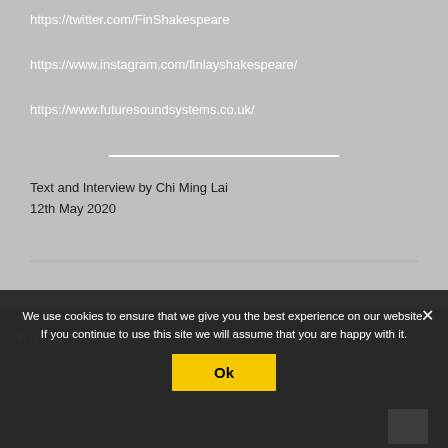https://twitter.com/FinShakespeare
https://www.instagram.com/finlayshakespeare/
https://www.futuresoundsystems.co.uk/
Text and Interview by Chi Ming Lai
12th May 2020
FINLAY SHAKESPEARE SOUNDINGS
APRIL 24, 2020
We use cookies to ensure that we give you the best experience on our website. If you continue to use this site we will assume that you are happy with it.
Ok